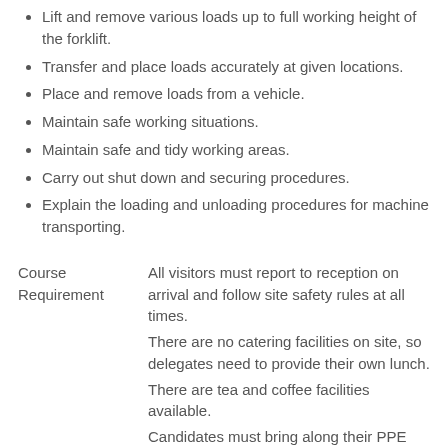Lift and remove various loads up to full working height of the forklift.
Transfer and place loads accurately at given locations.
Place and remove loads from a vehicle.
Maintain safe working situations.
Maintain safe and tidy working areas.
Carry out shut down and securing procedures.
Explain the loading and unloading procedures for machine transporting.
All visitors must report to reception on arrival and follow site safety rules at all times.
There are no catering facilities on site, so delegates need to provide their own lunch.
There are tea and coffee facilities available.
Candidates must bring along their PPE